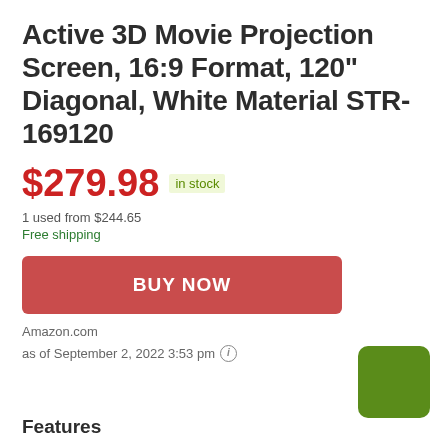Active 3D Movie Projection Screen, 16:9 Format, 120" Diagonal, White Material STR-169120
$279.98  in stock
1 used from $244.65
Free shipping
BUY NOW
Amazon.com
as of September 2, 2022 3:53 pm
Features